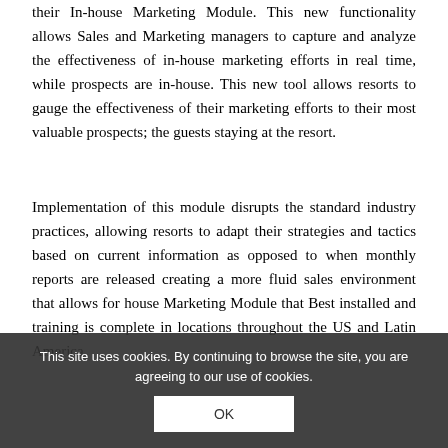their In-house Marketing Module. This new functionality allows Sales and Marketing managers to capture and analyze the effectiveness of in-house marketing efforts in real time, while prospects are in-house. This new tool allows resorts to gauge the effectiveness of their marketing efforts to their most valuable prospects; the guests staying at the resort.
Implementation of this module disrupts the standard industry practices, allowing resorts to adapt their strategies and tactics based on current information as opposed to when monthly reports are released creating a more fluid sales environment that allows for house Marketing Module that Best installed and training is complete in locations throughout the US and Latin America.
This site uses cookies. By continuing to browse the site, you are agreeing to our use of cookies.